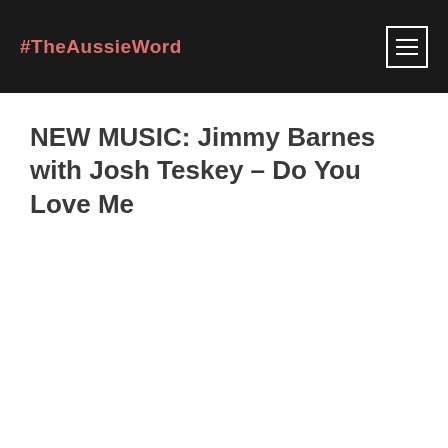#TheAussieWord
NEW MUSIC: Jimmy Barnes with Josh Teskey – Do You Love Me